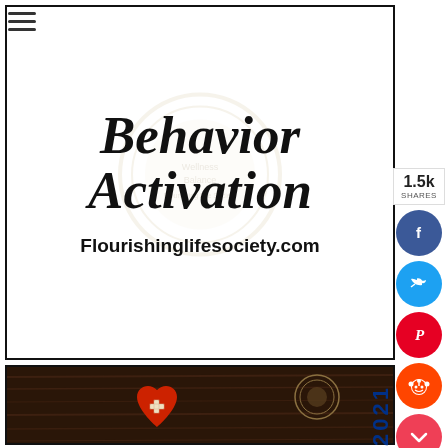[Figure (screenshot): Hamburger menu icon (three horizontal lines) in top-left corner of web page]
[Figure (illustration): Book/article cover card for 'Behavior Activation' from Flourishinglifesociety.com with bold italic serif text and website URL, white background with border, faded circular watermark/badge in center]
[Figure (photo): Photo of a red heart with white bandage cross on dark brown wooden background, with a circular badge/seal in upper right, and blue '2021' year label on right side]
[Figure (screenshot): Partial view of another card at bottom, mostly cut off, showing a circular badge and partial serif text]
[Figure (infographic): Social sharing sidebar on right with share count '1.5k SHARES' and circular buttons for Facebook, Twitter, Pinterest, Reddit, and Pocket]